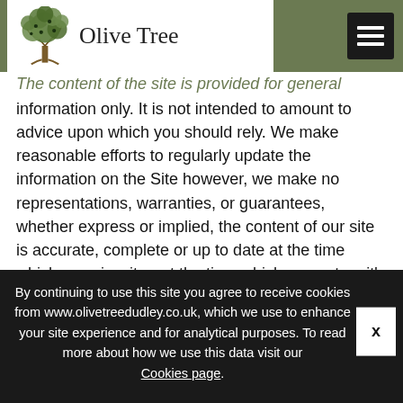[Figure (logo): Olive Tree restaurant logo with illustrated tree graphic and text 'Olive Tree']
The content of the site is provided for general information only. It is not intended to amount to advice upon which you should rely. We make reasonable efforts to regularly update the information on the Site however, we make no representations, warranties, or guarantees, whether express or implied, the content of our site is accurate, complete or up to date at the time which you view it or at the time which you act on it's content. It ultimately remains your responsibility to ensure the accuracy of any information provided with the restaurant
By continuing to use this site you agree to receive cookies from www.olivetreedudley.co.uk, which we use to enhance your site experience and for analytical purposes. To read more about how we use this data visit our Cookies page.